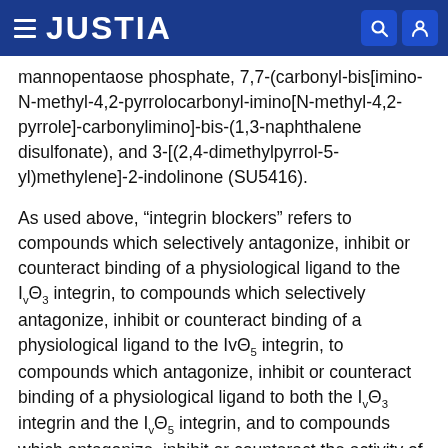JUSTIA
mannopentaose phosphate, 7,7-(carbonyl-bis[imino-N-methyl-4,2-pyrrolocarbonyl-imino[N-methyl-4,2-pyrrole]-carbonylimino]-bis-(1,3-naphthalene disulfonate), and 3-[(2,4-dimethylpyrrol-5-yl)methylene]-2-indolinone (SU5416).
As used above, “integrin blockers” refers to compounds which selectively antagonize, inhibit or counteract binding of a physiological ligand to the IvΘ3 integrin, to compounds which selectively antagonize, inhibit or counteract binding of a physiological ligand to the IvΘ5 integrin, to compounds which antagonize, inhibit or counteract binding of a physiological ligand to both the IvΘ3 integrin and the IvΘ5 integrin, and to compounds which antagonize, inhibit or counteract the activity of the particular integrin(s) expressed on capillary endothelial cells. The term also refers to antagonists of the IvΘ1, IvΘ2, IvΘ3, IvΘ4, IvΘ5, IvΘ6, and IvΘ8 integrins. Th